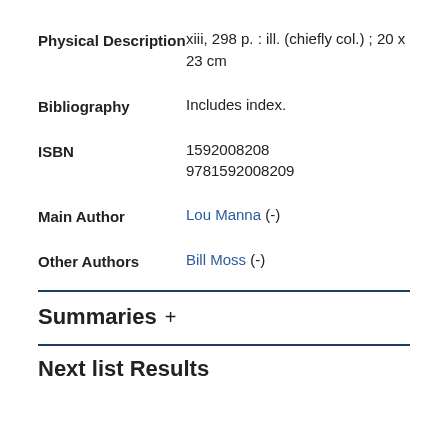Physical Description	xiii, 298 p. : ill. (chiefly col.) ; 20 x 23 cm
Bibliography	Includes index.
ISBN	1592008208 9781592008209
Main Author	Lou Manna (-)
Other Authors	Bill Moss (-)
Summaries +
Next list Results